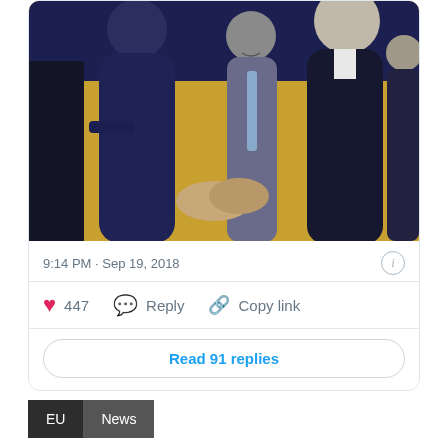[Figure (photo): Photo of political figures shaking hands at what appears to be a diplomatic meeting. A woman in a dark navy suit (Theresa May) shaking hands with a tall man in a dark suit, with other suited figures in the background including a smiling man. Yellow background visible behind figures.]
9:14 PM · Sep 19, 2018
447  Reply  Copy link
Read 91 replies
EU  News